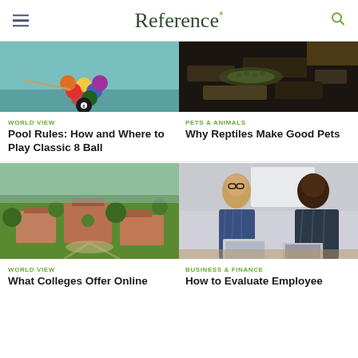Reference*
[Figure (photo): Billiard balls racked on a pool table with teal background]
WORLD VIEW
Pool Rules: How and Where to Play Classic 8 Ball
[Figure (photo): Close-up of reptiles, dark rocks and textures]
PETS & ANIMALS
Why Reptiles Make Good Pets
[Figure (photo): Aerial view of a college campus with red brick buildings and green trees]
WORLD VIEW
What Colleges Offer Online
[Figure (photo): Two men in a business meeting with laptops]
BUSINESS & FINANCE
How to Evaluate Employee